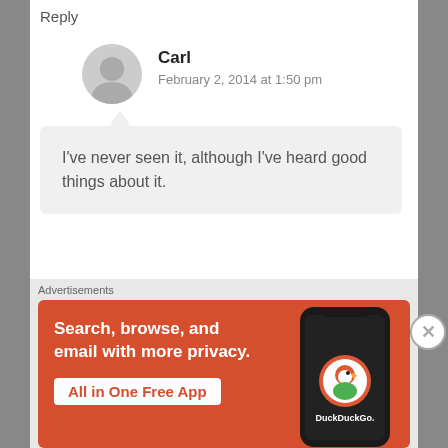Reply
Carl
February 2, 2014 at 1:50 pm
I've never seen it, although I've heard good things about it.
SimonCowelSays
July 16, 2015 at 7:09 pm
Advertisements
[Figure (screenshot): DuckDuckGo advertisement banner showing 'Search, browse, and email with more privacy. All in One Free App' with a phone mockup and DuckDuckGo logo]